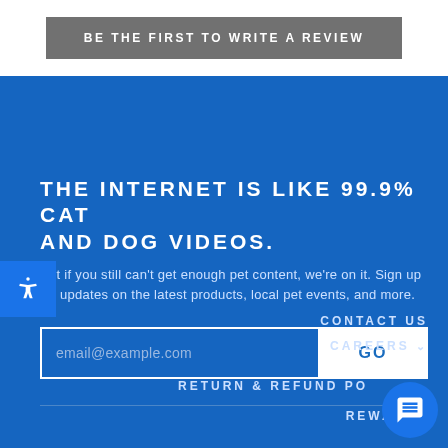BE THE FIRST TO WRITE A REVIEW
THE INTERNET IS LIKE 99.9% CAT AND DOG VIDEOS.
But if you still can't get enough pet content, we're on it. Sign up for updates on the latest products, local pet events, and more.
email@example.com
GO
CONTACT US
CAREERS
RETURN & REFUND PO...
REWARDS